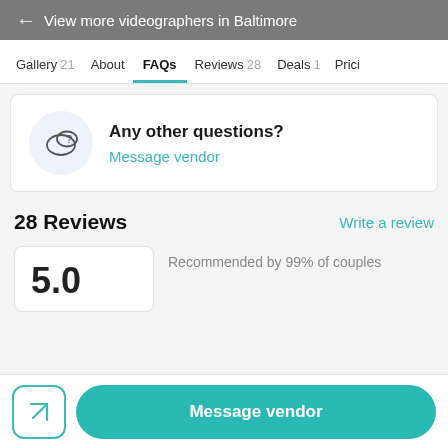← View more videographers in Baltimore
Gallery 21
About
FAQs
Reviews 28
Deals 1
Prici
Any other questions?
Message vendor
28 Reviews
Write a review
Recommended by 99% of couples
Message vendor